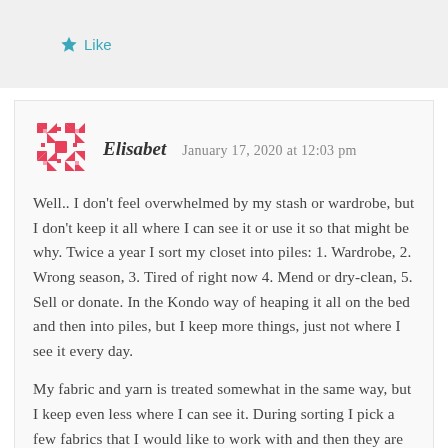★ Like
[Figure (logo): Red/pink geometric quilt-pattern avatar for user Elisabet]
Elisabet   January 17, 2020 at 12:03 pm
Well.. I don't feel overwhelmed by my stash or wardrobe, but I don't keep it all where I can see it or use it so that might be why. Twice a year I sort my closet into piles: 1. Wardrobe, 2. Wrong season, 3. Tired of right now 4. Mend or dry-clean, 5. Sell or donate. In the Kondo way of heaping it all on the bed and then into piles, but I keep more things, just not where I see it every day.
My fabric and yarn is treated somewhat in the same way, but I keep even less where I can see it. During sorting I pick a few fabrics that I would like to work with and then they are